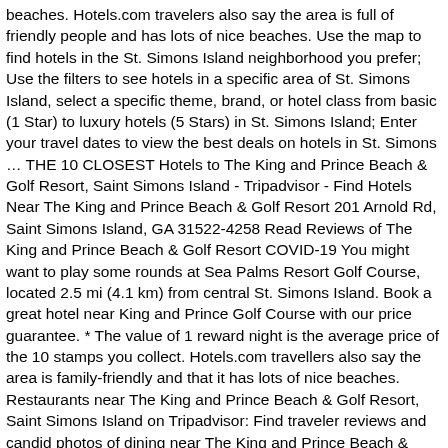beaches. Hotels.com travelers also say the area is full of friendly people and has lots of nice beaches. Use the map to find hotels in the St. Simons Island neighborhood you prefer; Use the filters to see hotels in a specific area of St. Simons Island, select a specific theme, brand, or hotel class from basic (1 Star) to luxury hotels (5 Stars) in St. Simons Island; Enter your travel dates to view the best deals on hotels in St. Simons … THE 10 CLOSEST Hotels to The King and Prince Beach & Golf Resort, Saint Simons Island - Tripadvisor - Find Hotels Near The King and Prince Beach & Golf Resort 201 Arnold Rd, Saint Simons Island, GA 31522-4258 Read Reviews of The King and Prince Beach & Golf Resort COVID-19 You might want to play some rounds at Sea Palms Resort Golf Course, located 2.5 mi (4.1 km) from central St. Simons Island. Book a great hotel near King and Prince Golf Course with our price guarantee. * The value of 1 reward night is the average price of the 10 stamps you collect. Hotels.com travellers also say the area is family-friendly and that it has lots of nice beaches. Restaurants near The King and Prince Beach & Golf Resort, Saint Simons Island on Tripadvisor: Find traveler reviews and candid photos of dining near The King and Prince Beach & Golf Resort in Saint Simons Island, Georgia. Hodnett Cooper St Simons Grand - 3 Bedroom is a 3.50 star hotel and previous guests rate it 5.00 out of 5. If Sea Palms Resort Golf Course doesn't quite scratch your golfing itch, King and Prince Golf Course and Jekyll Island Golf Club are all just a short drive